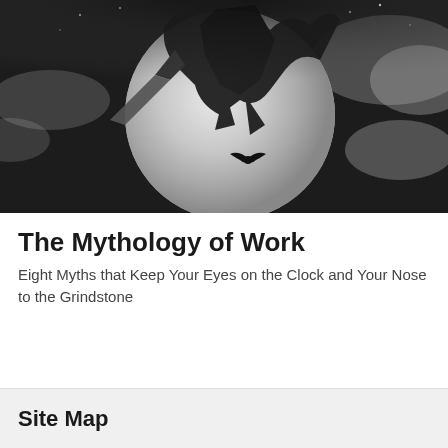[Figure (illustration): Black and white illustration of a witch or dark figure flying over a large moon against a dark cloudy sky, with a bat silhouette below]
The Mythology of Work
Eight Myths that Keep Your Eyes on the Clock and Your Nose to the Grindstone
Site Map